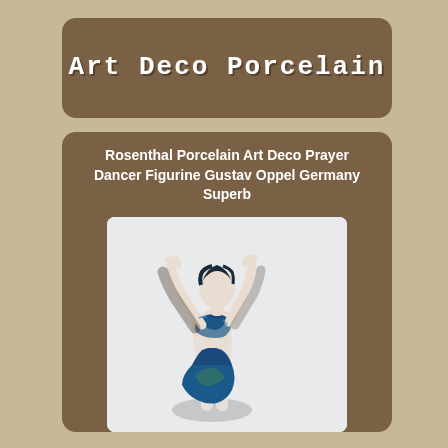Art Deco Porcelain
Rosenthal Porcelain Art Deco Prayer Dancer Figurine Gustav Oppel Germany Superb
[Figure (photo): Photo of a Rosenthal porcelain Art Deco dancer figurine by Gustav Oppel, depicting a female figure in a blue costume with arms raised upward in a prayer/dance pose, white porcelain body with blue and green glazed costume details]